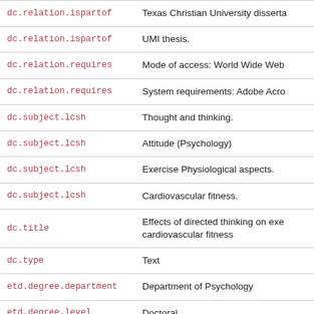| Field | Value |
| --- | --- |
| dc.relation.ispartof | Texas Christian University disserta |
| dc.relation.ispartof | UMI thesis. |
| dc.relation.requires | Mode of access: World Wide Web |
| dc.relation.requires | System requirements: Adobe Acro |
| dc.subject.lcsh | Thought and thinking. |
| dc.subject.lcsh | Attitude (Psychology) |
| dc.subject.lcsh | Exercise Physiological aspects. |
| dc.subject.lcsh | Cardiovascular fitness. |
| dc.title | Effects of directed thinking on exe cardiovascular fitness |
| dc.type | Text |
| etd.degree.department | Department of Psychology |
| etd.degree.level | Doctoral |